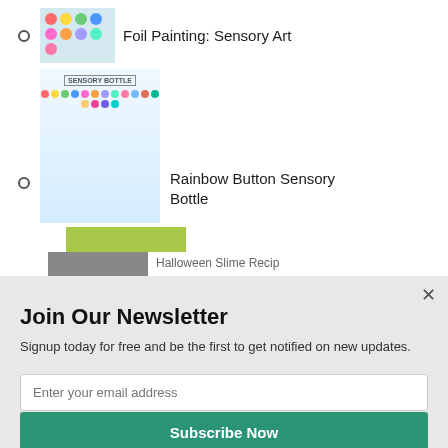Foil Painting: Sensory Art
[Figure (photo): Colorful paint circles in a muffin tin]
Rainbow Button Sensory Bottle
[Figure (photo): Sensory bottle with colorful buttons labeled SENSORY BOTTLE]
[Figure (photo): Halloween slime recipe for sensory play - green slime with googly eyes]
[Figure (screenshot): SUMO badge/widget]
Halloween Slime Recipe (partially visible)
Join Our Newsletter
Signup today for free and be the first to get notified on new updates.
Enter your email address
Subscribe Now